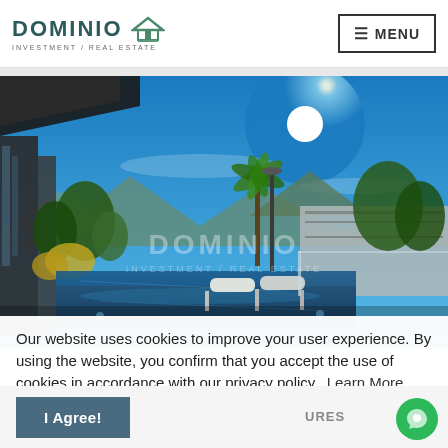[Figure (logo): DOMINIO Investment / Real Estate logo with teal text and house icon]
≡ MENU
[Figure (photo): Exterior photo of a luxury property with pool, sun deck with loungers, palm trees, mountains, and bright blue sky with sun]
Our website uses cookies to improve your user experience. By using the website, you confirm that you accept the use of cookies in accordance with our privacy policy.  Learn More
I Agree!
URES
VIDEO